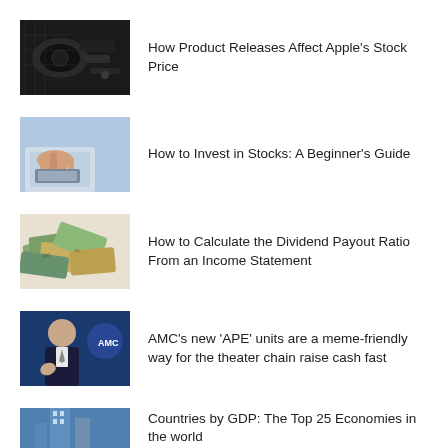[Figure (photo): Close-up of a car dashboard or steering wheel area, dark tones]
How Product Releases Affect Apple's Stock Price
[Figure (photo): Person's hands typing on a tablet or using a device on a desk, blurred background]
How to Invest in Stocks: A Beginner's Guide
[Figure (photo): Pile of various international currency banknotes spread out]
How to Calculate the Dividend Payout Ratio From an Income Statement
[Figure (photo): Man in suit speaking or gesturing, blue background with a logo]
AMC's new 'APE' units are a meme-friendly way for the theater chain raise cash fast
[Figure (photo): City skyline or tall buildings, partially visible]
Countries by GDP: The Top 25 Economies in the world